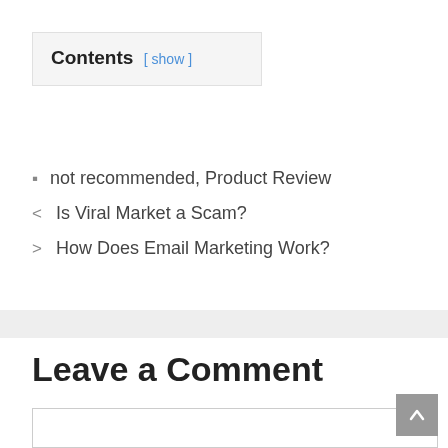Contents [ show ]
not recommended, Product Review
Is Viral Market a Scam?
How Does Email Marketing Work?
Leave a Comment